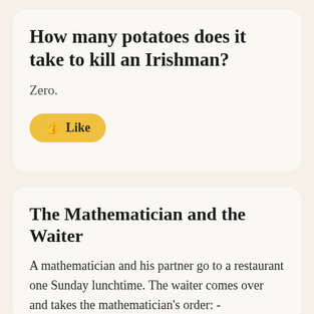How many potatoes does it take to kill an Irishman?
Zero.
👍 Like
The Mathematician and the Waiter
A mathematician and his partner go to a restaurant one Sunday lunchtime. The waiter comes over and takes the mathematician's order: -